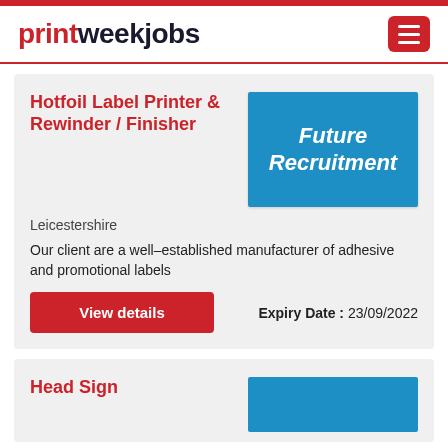printweekjobs
Hotfoil Label Printer & Rewinder / Finisher
[Figure (logo): Future Recruitment company logo on blue background]
Leicestershire
Our client are a well-established manufacturer of adhesive and promotional labels
View details
Expiry Date : 23/09/2022
Head Sign